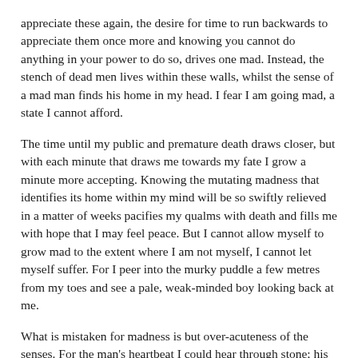appreciate these again, the desire for time to run backwards to appreciate them once more and knowing you cannot do anything in your power to do so, drives one mad. Instead, the stench of dead men lives within these walls, whilst the sense of a mad man finds his home in my head. I fear I am going mad, a state I cannot afford.
The time until my public and premature death draws closer, but with each minute that draws me towards my fate I grow a minute more accepting. Knowing the mutating madness that identifies its home within my mind will be so swiftly relieved in a matter of weeks pacifies my qualms with death and fills me with hope that I may feel peace. But I cannot allow myself to grow mad to the extent where I am not myself, I cannot let myself suffer. For I peer into the murky puddle a few metres from my toes and see a pale, weak-minded boy looking back at me.
What is mistaken for madness is but over-acuteness of the senses. For the man's heartbeat I could hear through stone; his thoughts blatantly penetrating my skull, telling me I was mad. His pungent stench of authority ever-present in the air even when he was 10 metres from the cell door. The terror excites me, creating an uncontrollable itch to be rid of him, to scratch the nonsense he shouts from the other side of the door away and silence him with